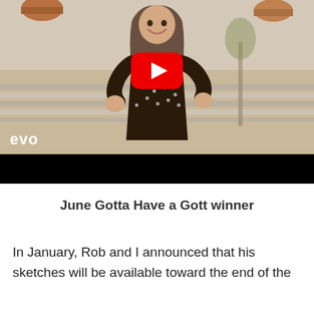[Figure (screenshot): YouTube video thumbnail showing a woman in a black polka dot dress smiling and posing outdoors. A YouTube play button overlay is visible in the center. The 'evo' logo appears in the bottom-left corner. The bottom portion of the video player is black.]
June Gotta Have a Gott winner
In January, Rob and I announced that his sketches will be available toward the end of the